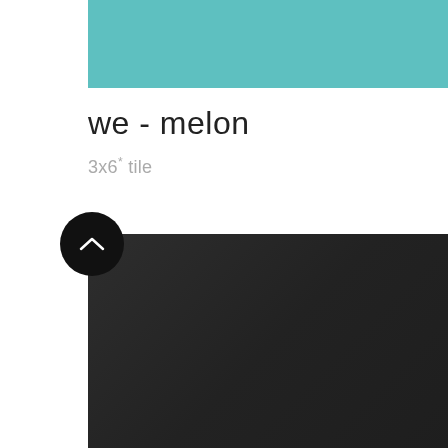[Figure (photo): Teal/turquoise colored rectangle at the top of the page, representing a tile color swatch]
we - melon
3x6* tile
[Figure (photo): Dark gray/charcoal colored rectangle in the lower portion of the page, representing a dark tile or background image, with a black circular button containing a white chevron/arrow pointing upward overlaid in the upper-left corner]